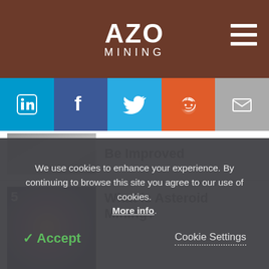AZO MINING
[Figure (infographic): Social media sharing bar with LinkedIn, Facebook, Twitter, Reddit, and Email buttons]
Be Improved
5  What is Asteroid Mining?
Seismic Noise Analysis and its
We use cookies to enhance your experience. By continuing to browse this site you agree to our use of cookies. More info.
✓ Accept   Cookie Settings